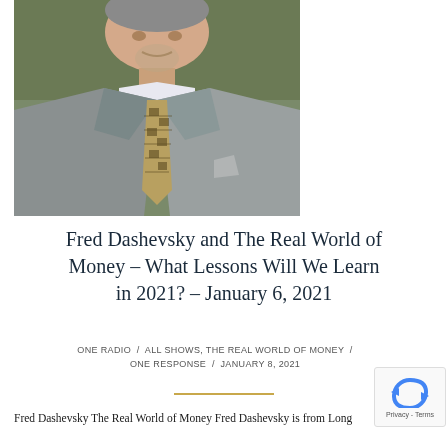[Figure (photo): A man in a grey suit with a patterned gold/brown tie, photographed from the chest up against an outdoor background.]
Fred Dashevsky and The Real World of Money – What Lessons Will We Learn in 2021? – January 6, 2021
ONE RADIO / ALL SHOWS, THE REAL WORLD OF MONEY / ONE RESPONSE / JANUARY 8, 2021
Fred Dashevsky The Real World of Money Fred Dashevsky is from Long